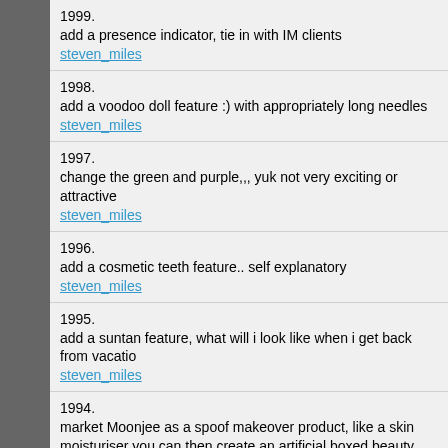1999.
add a presence indicator, tie in with IM clients
steven_miles
1998.
add a voodoo doll feature :) with appropriately long needles
steven_miles
1997.
change the green and purple,,, yuk not very exciting or attractive
steven_miles
1996.
add a cosmetic teeth feature.. self explanatory
steven_miles
1995.
add a suntan feature, what will i look like when i get back from vacation
steven_miles
1994.
market Moonjee as a spoof makeover product, like a skin moisturiser you can then create an artificial boxed beauty product and market through cosmopolitan etc...
steven_miles
1993.
allow children to change themselves into their favourite tv character
steven_miles
1992.
allow mapping of images to 3d .obj or similar meshes, offer as a PAY